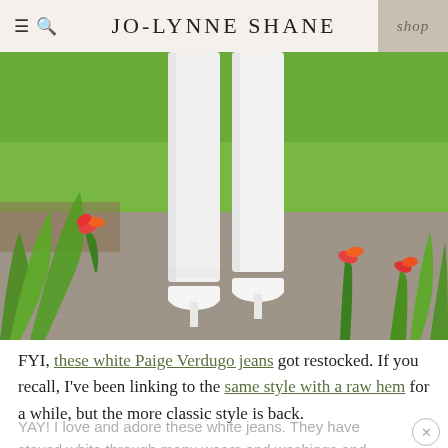≡ 🔍  JO-LYNNE SHANE  shop
[Figure (photo): Lower half of a woman wearing white skinny jeans and white high-heeled pumps, standing on a stone patio surrounded by green grass and red day lily flowers in bloom.]
FYI, these white Paige Verdugo jeans got restocked. If you recall, I've been linking to the same style with a raw hem for a while, but the more classic style is back.
YAY! I love and adore these white jeans. They have stayed white through many wears and washings and